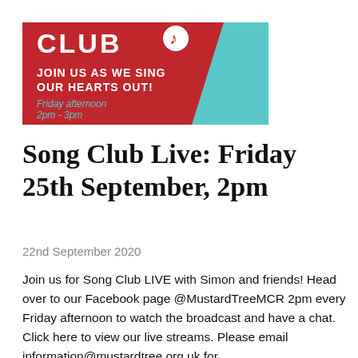[Figure (illustration): Song Club banner image with red background and teal accent. Text reads 'CLUB' with a music note icon, 'JOIN US AS WE SING OUR HEARTS OUT!' in white bold text, and 'Friday afternoon 2pm - 3pm' in teal.]
Song Club Live: Friday 25th September, 2pm
22nd September 2020
Join us for Song Club LIVE with Simon and friends! Head over to our Facebook page @MustardTreeMCR 2pm every Friday afternoon to watch the broadcast and have a chat. Click here to view our live streams. Please email information@mustardtree.org.uk for